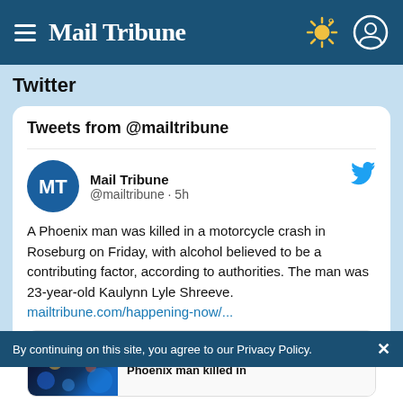Mail Tribune
Twitter
Tweets from @mailtribune
Mail Tribune @mailtribune · 5h
A Phoenix man was killed in a motorcycle crash in Roseburg on Friday, with alcohol believed to be a contributing factor, according to authorities. The man was 23-year-old Kaulynn Lyle Shreeve. mailtribune.com/happening-now/...
[Figure (screenshot): Preview card showing mailtribune.com article: Phoenix man killed in...]
By continuing on this site, you agree to our Privacy Policy.